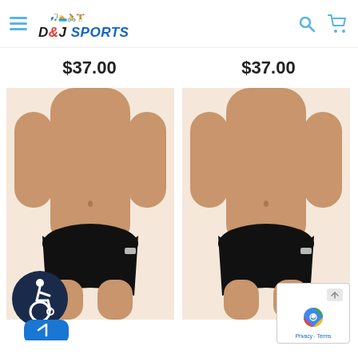D&J Sports — navigation header with hamburger menu, logo, search icon, cart icon
$37.00
$37.00
[Figure (photo): Male model wearing black Speedo swim brief, front view, left product]
[Figure (photo): Male model wearing black Speedo swim brief, front view, right product]
[Figure (other): Accessibility widget — dark navy circle with wheelchair user icon and blue tab]
[Figure (other): reCAPTCHA badge with scroll-to-top arrow, reCAPTCHA logo, Privacy and Terms links]